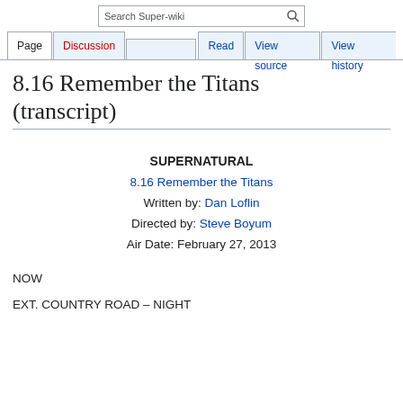Search Super-wiki | Page | Discussion | Read | View source | View history
8.16 Remember the Titans (transcript)
SUPERNATURAL
8.16 Remember the Titans
Written by: Dan Loflin
Directed by: Steve Boyum
Air Date: February 27, 2013
NOW
EXT. COUNTRY ROAD – NIGHT